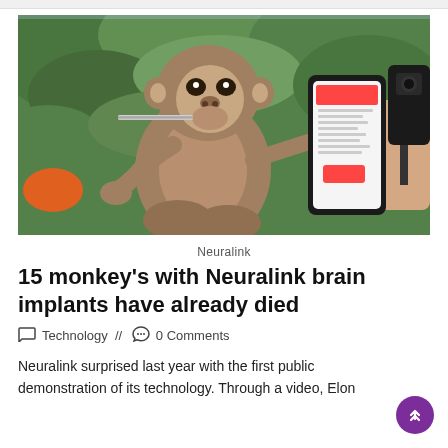[Figure (photo): A macaque monkey sitting facing right, holding a metal straw-like object in its mouth with one hand, and reaching toward a smartphone being held by a human hand. The background shows green foliage behind glass. A camera/recording device is visible on the right side. The phone screen shows a red and white interface, likely the Neuralink app.]
Neuralink
15 monkey's with Neuralink brain implants have already died
Technology // 0 Comments
Neuralink surprised last year with the first public demonstration of its technology. Through a video, Elon